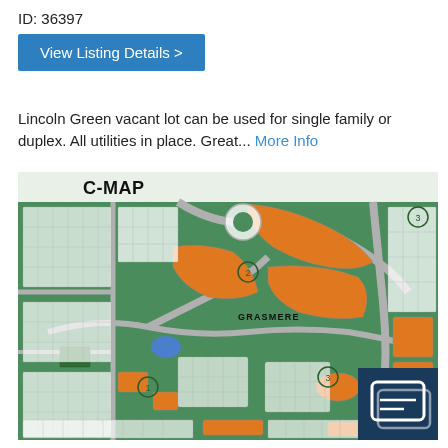ID: 36397
View Listing Details >
Lincoln Green vacant lot can be used for single family or duplex. All utilities in place. Great... More Info
[Figure (map): C-MAP residential subdivision plat map showing Lincoln Green area with color-coded land tracts (orange, green, white) and street layout. Label 'GRASMERE' visible in center.]